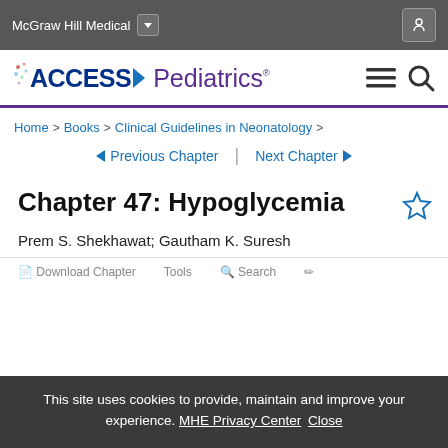McGraw Hill Medical
[Figure (logo): AccessPediatrics logo with hamburger menu and search icon]
Home > Books > Clinical Guidelines in Neonatology >
◄ Previous Chapter | Next Chapter ►
Chapter 47: Hypoglycemia
Prem S. Shekhawat; Gautham K. Suresh
Download Chapter   Tools   Search
This site uses cookies to provide, maintain and improve your experience. MHE Privacy Center Close